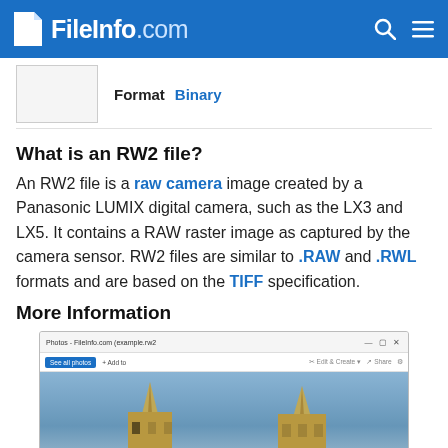FileInfo.com
Format   Binary
What is an RW2 file?
An RW2 file is a raw camera image created by a Panasonic LUMIX digital camera, such as the LX3 and LX5. It contains a RAW raster image as captured by the camera sensor. RW2 files are similar to .RAW and .RWL formats and are based on the TIFF specification.
More Information
[Figure (screenshot): Screenshot of an RW2 file opened in Windows Photos application showing a photo of gothic cathedral spires against a blue sky.]